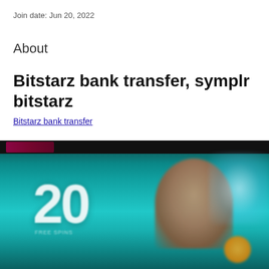Join date: Jun 20, 2022
About
Bitstarz bank transfer, symplr bitstarz
Bitstarz bank transfer
[Figure (photo): Blurred promotional image with large number '20' on a teal/dark background, with a person visible on the right side and a coin/orange element in the lower right.]